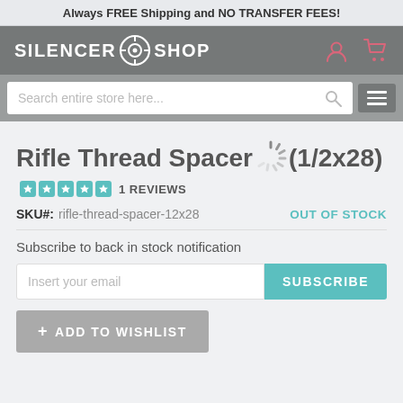Always FREE Shipping and NO TRANSFER FEES!
[Figure (logo): Silencer Shop logo with circular icon on dark grey navigation bar]
Search entire store here...
Rifle Thread Spacer (1/2x28)
1 REVIEWS
SKU#: rifle-thread-spacer-12x28   OUT OF STOCK
Subscribe to back in stock notification
Insert your email
SUBSCRIBE
+ ADD TO WISHLIST